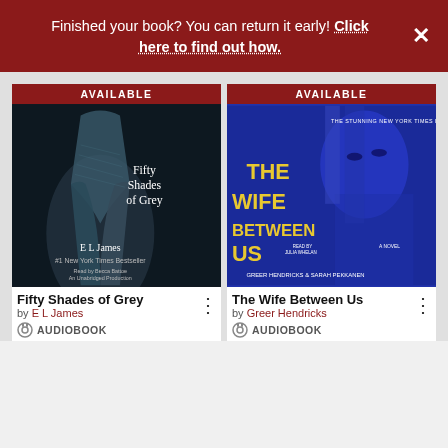Finished your book? You can return it early! Click here to find out how.
[Figure (photo): Book cover of Fifty Shades of Grey by E L James, audiobook edition — dark background with silver necktie, #1 New York Times Bestseller]
[Figure (photo): Book cover of The Wife Between Us by Greer Hendricks and Sarah Pekkanen — blue toned cover with woman's face, yellow title text, New York Times Bestseller]
Fifty Shades of Grey by E L James AUDIOBOOK
The Wife Between Us by Greer Hendricks AUDIOBOOK